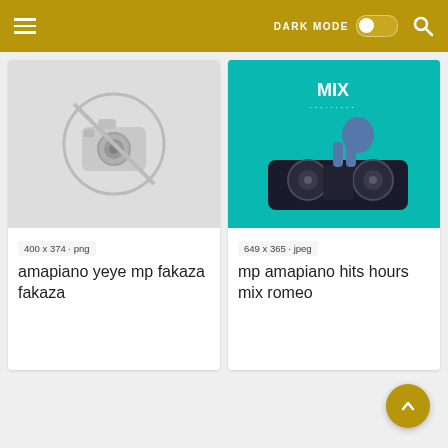[Figure (screenshot): Mobile app screenshot showing a music download website with a dark gold navigation bar containing a hamburger menu, 'DARK MODE' toggle, and search icon. Two image cards are shown: left card has a placeholder camera icon image for 'amapiano yeye mp fakaza fakaza' (400x374 png), right card shows a DJ mixing image for 'mp amapiano hits hours mix romeo' (649x365 jpeg). A gold back-to-top button is visible at bottom right.]